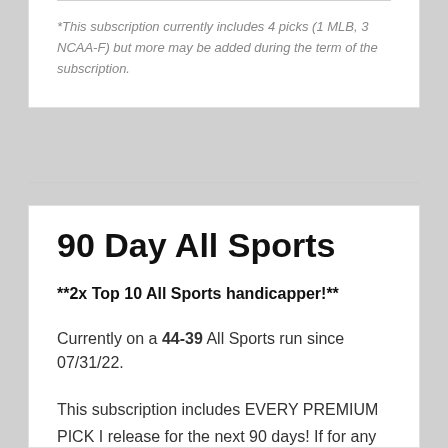*This subscription currently includes 4 picks (1 MLB, 3 NCAA-F) but more may be added during the term of the subscription.
90 Day All Sports
**2x Top 10 All Sports handicapper!**
Currently on a 44-39 All Sports run since 07/31/22.
This subscription includes EVERY PREMIUM PICK I release for the next 90 days! If for any reason I don't see value on the day's card and pass, another day will be added to your